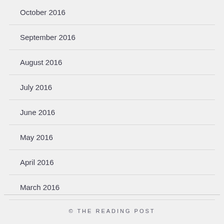October 2016
September 2016
August 2016
July 2016
June 2016
May 2016
April 2016
March 2016
© THE READING POST